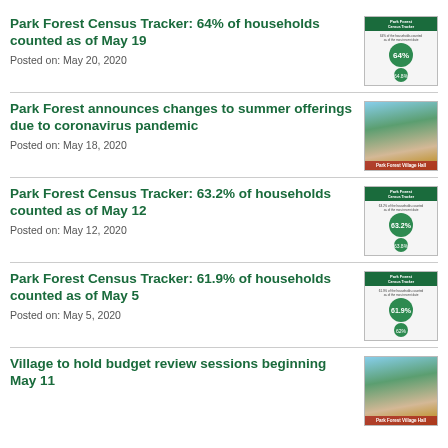Park Forest Census Tracker: 64% of households counted as of May 19
Posted on: May 20, 2020
Park Forest announces changes to summer offerings due to coronavirus pandemic
Posted on: May 18, 2020
Park Forest Census Tracker: 63.2% of households counted as of May 12
Posted on: May 12, 2020
Park Forest Census Tracker: 61.9% of households counted as of May 5
Posted on: May 5, 2020
Village to hold budget review sessions beginning May 11